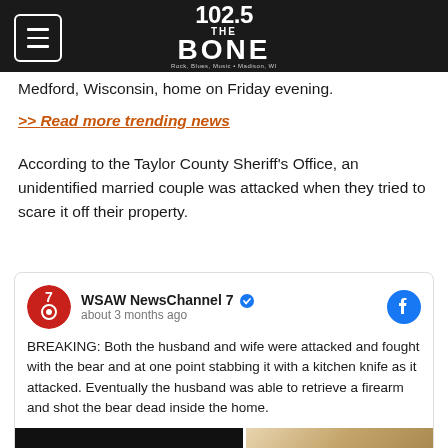102.5 THE BONE
Medford, Wisconsin, home on Friday evening.
>> Read more trending news
According to the Taylor County Sheriff’s Office, an unidentified married couple was attacked when they tried to scare it off their property.
[Figure (screenshot): Facebook post from WSAW NewsChannel 7 about 3 months ago. Text: BREAKING: Both the husband and wife were attacked and fought with the bear and at one point stabbing it with a kitchen knife as it attacked. Eventually the husband was able to retrieve a firearm and shot the bear dead inside the home. Below is a partial image of a house interior.]